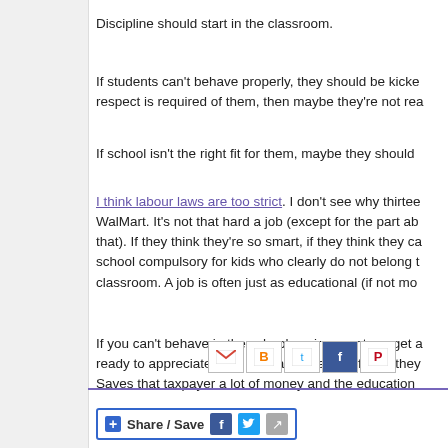Discipline should start in the classroom.
If students can't behave properly, they should be kicked out... respect is required of them, then maybe they're not rea...
If school isn't the right fit for them, maybe they should ...
I think labour laws are too strict. I don't see why thirteen... WalMart. It's not that hard a job (except for the part ab... that). If they think they're so smart, if they think they ca... school compulsory for kids who clearly do not belong t... classroom. A job is often just as educational (if not mo...
If you can't behave in the school environment, go get a... ready to appreciate what education has to offer. If they... Saves that taxpayer a lot of money and the education ...
[Figure (infographic): Social sharing buttons: Gmail, Blogger, Twitter, Facebook, Pinterest icons in a row]
[Figure (infographic): Share/Save button bar with Facebook and Twitter icons]